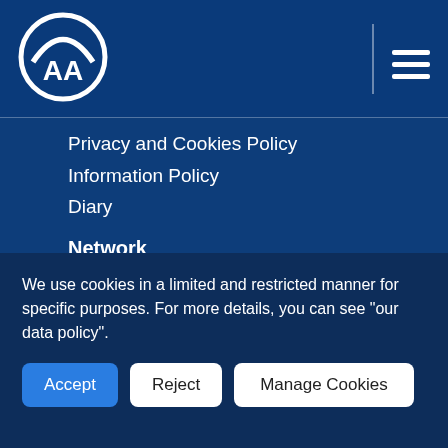[Figure (logo): Anadolu Agency (AA) logo — white circle arch with AA letters inside, on dark blue background]
Privacy and Cookies Policy
Information Policy
Diary
Network
Company News
Finance Terminal
Anadolu Images
Energy Terminal
News Academy
We use cookies in a limited and restricted manner for specific purposes. For more details, you can see "our data policy".